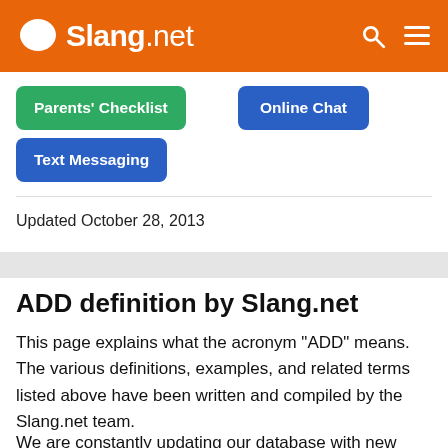Slang.net
Parents' Checklist
Online Chat
Text Messaging
Updated October 28, 2013
ADD definition by Slang.net
This page explains what the acronym "ADD" means. The various definitions, examples, and related terms listed above have been written and compiled by the Slang.net team.
We are constantly updating our database with new